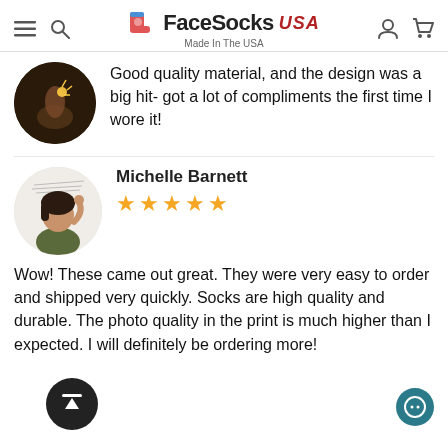FaceSocks USA — Made In The USA
Good quality material, and the design was a big hit- got a lot of compliments the first time I wore it!
Michelle Barnett
★★★★★
Wow! These came out great. They were very easy to order and shipped very quickly. Socks are high quality and durable. The photo quality in the print is much higher than I expected. I will definitely be ordering more!